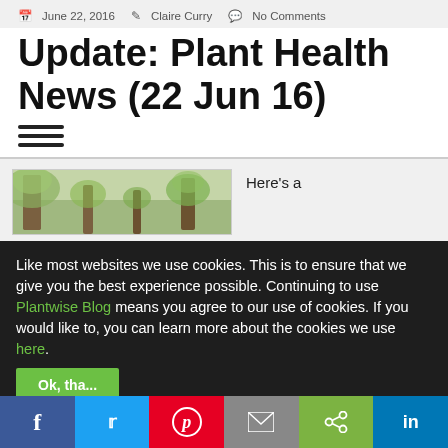June 22, 2016  Claire Curry  No Comments
Update: Plant Health News (22 Jun 16)
[Figure (illustration): Hamburger menu icon with three horizontal lines]
[Figure (photo): Outdoor photo showing trees in a landscape]
Here's a
Like most websites we use cookies. This is to ensure that we give you the best experience possible. Continuing to use Plantwise Blog means you agree to our use of cookies. If you would like to, you can learn more about the cookies we use here.
[Figure (infographic): Social share bar with Facebook, Twitter, Pinterest, Email, Share, and LinkedIn buttons]